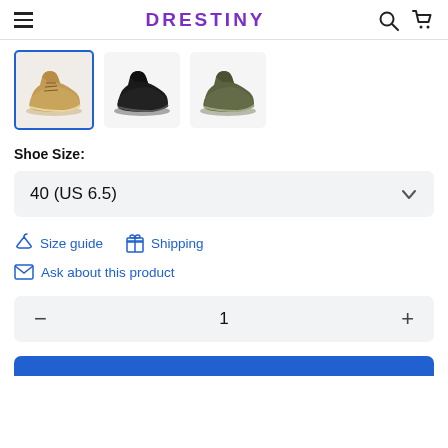DRESTINY
[Figure (photo): Three shoe thumbnail images: tan/wheat boot (selected with blue border), black boot, dark olive/grey boot]
Shoe Size:
40 (US 6.5)
Size guide
Shipping
Ask about this product
1